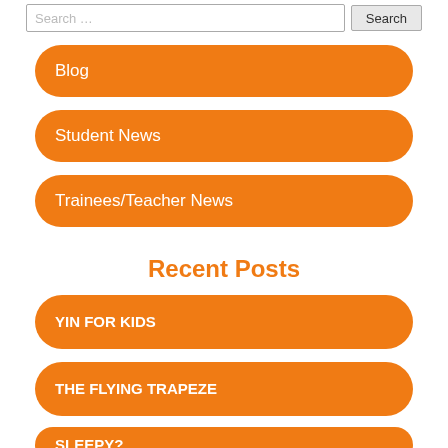Search ...
Blog
Student News
Trainees/Teacher News
Recent Posts
YIN FOR KIDS
THE FLYING TRAPEZE
SLEEPY?